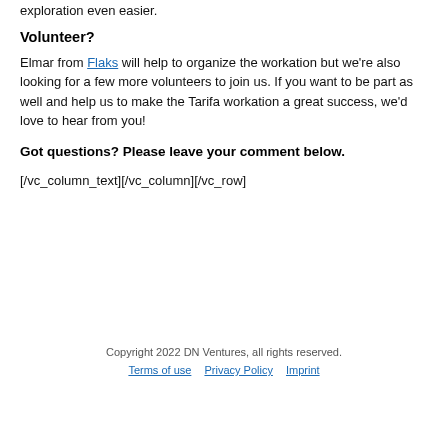exploration even easier.
Volunteer?
Elmar from Flaks will help to organize the workation but we’re also looking for a few more volunteers to join us. If you want to be part as well and help us to make the Tarifa workation a great success, we’d love to hear from you!
Got questions? Please leave your comment below.
[/vc_column_text][/vc_column][/vc_row]
Copyright 2022 DN Ventures, all rights reserved.
Terms of use   Privacy Policy   Imprint